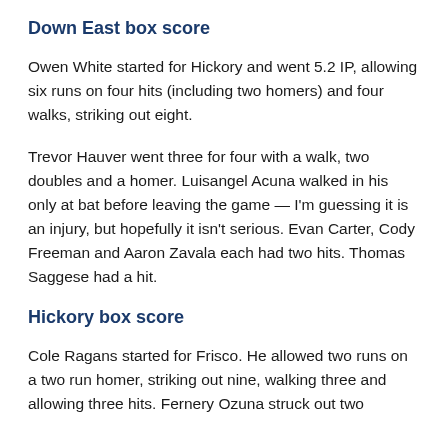Down East box score
Owen White started for Hickory and went 5.2 IP, allowing six runs on four hits (including two homers) and four walks, striking out eight.
Trevor Hauver went three for four with a walk, two doubles and a homer. Luisangel Acuna walked in his only at bat before leaving the game — I'm guessing it is an injury, but hopefully it isn't serious. Evan Carter, Cody Freeman and Aaron Zavala each had two hits. Thomas Saggese had a hit.
Hickory box score
Cole Ragans started for Frisco. He allowed two runs on a two run homer, striking out nine, walking three and allowing three hits. Fernery Ozuna struck out two